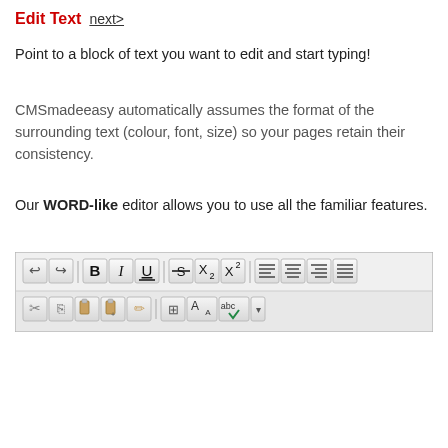Edit Text  next>
Point to a block of text you want to edit and start typing!
CMSmadeeasy automatically assumes the format of the surrounding text (colour, font, size) so your pages retain their consistency.
Our WORD-like editor allows you to use all the familiar features.
[Figure (screenshot): A WORD-like text editor toolbar showing two rows of formatting buttons: undo, redo, bold, italic, underline, strikethrough, subscript, superscript, alignment buttons (left, center, right, justify) in the first row; cut, copy, paste, paste-special, clear-formatting, find-replace, spellcheck buttons in the second row.]